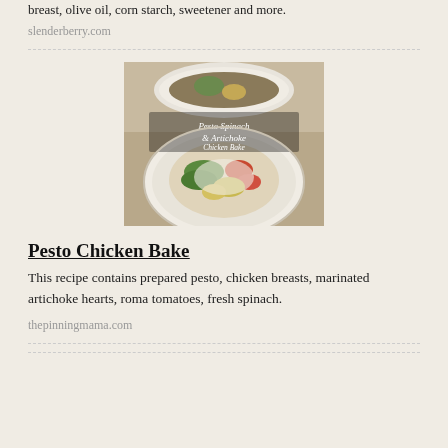breast, olive oil, corn starch, sweetener and more.
slenderberry.com
[Figure (photo): Photo of Pesto Spinach & Artichoke baked chicken dish served on a white plate with a casserole dish in background. Text overlay reads 'Pesto Spinach & Artichoke Chicken Bake'.]
Pesto Chicken Bake
This recipe contains prepared pesto, chicken breasts, marinated artichoke hearts, roma tomatoes, fresh spinach.
thepinningmama.com